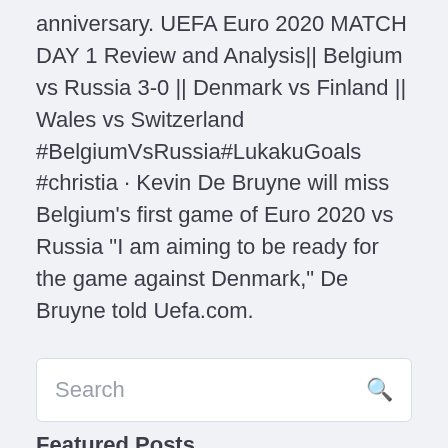anniversary. UEFA Euro 2020 MATCH DAY 1 Review and Analysis|| Belgium vs Russia 3-0 || Denmark vs Finland || Wales vs Switzerland #BelgiumVsRussia#LukakuGoals #christia · Kevin De Bruyne will miss Belgium's first game of Euro 2020 vs Russia "I am aiming to be ready for the game against Denmark," De Bruyne told Uefa.com.
Search
Featured Posts